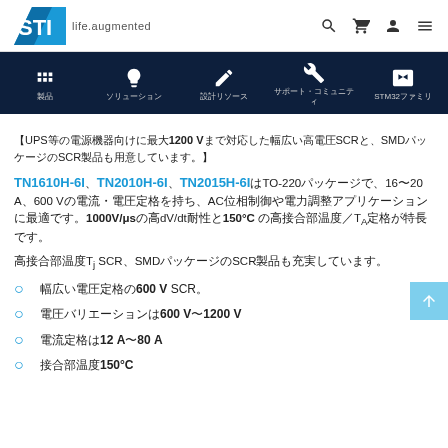STI life.augmented
UPS等の電源機器向けに最大1200 Vまで対応した幅広い高電圧SCRと、SMDパッケージのSCR製品も用意しています。
TN1610H-6I、TN2010H-6I、TN2015H-6IはTO-220パッケージで、16〜20 A、600 Vの電流・電圧定格を持ち、AC位相制御や電力調整アプリケーションに最適です。1000V/μsの高dV/dt耐性と150°C の高接合部温度／TA定格が特長です。
高接合部温度Tj SCR、SMDパッケージのSCR製品も充実しています。
幅広い電圧定格の600 V SCR。
電圧バリエーションは600 V〜1200 V
電流定格は12 A〜80 A
接合部温度150°C